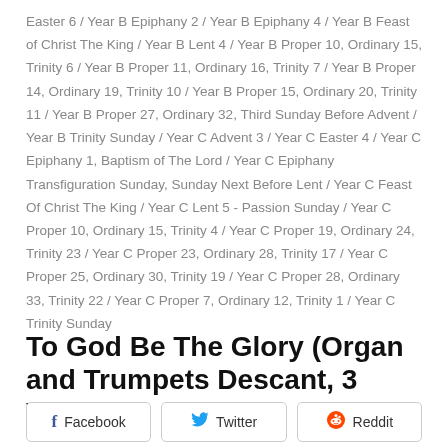Easter 6 / Year B Epiphany 2 / Year B Epiphany 4 / Year B Feast of Christ The King / Year B Lent 4 / Year B Proper 10, Ordinary 15, Trinity 6 / Year B Proper 11, Ordinary 16, Trinity 7 / Year B Proper 14, Ordinary 19, Trinity 10 / Year B Proper 15, Ordinary 20, Trinity 11 / Year B Proper 27, Ordinary 32, Third Sunday Before Advent / Year B Trinity Sunday / Year C Advent 3 / Year C Easter 4 / Year C Epiphany 1, Baptism of The Lord / Year C Epiphany Transfiguration Sunday, Sunday Next Before Lent / Year C Feast Of Christ The King / Year C Lent 5 - Passion Sunday / Year C Proper 10, Ordinary 15, Trinity 4 / Year C Proper 19, Ordinary 24, Trinity 23 / Year C Proper 23, Ordinary 28, Trinity 17 / Year C Proper 25, Ordinary 30, Trinity 19 / Year C Proper 28, Ordinary 33, Trinity 22 / Year C Proper 7, Ordinary 12, Trinity 1 / Year C Trinity Sunday
To God Be The Glory (Organ and Trumpets Descant, 3 Verses)